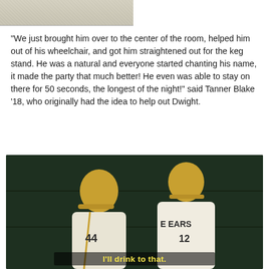[Figure (photo): Partial view of a photo at the top of the page, showing what appears to be the bottom portion of a previous image — grainy/sandy texture.]
“We just brought him over to the center of the room, helped him out of his wheelchair, and got him straightened out for the keg stand. He was a natural and everyone started chanting his name, it made the party that much better! He even was able to stay on there for 50 seconds, the longest of the night!” said Tanner Blake ’18, who originally had the idea to help out Dwight.
[Figure (photo): Movie still from Bad News Bears (or similar) showing two young baseball players in yellow/gold and white uniforms with 'BEARS' and number 12 visible, sitting in what appears to be a dugout with dark green background. A subtitle reads: I'll drink to that.]